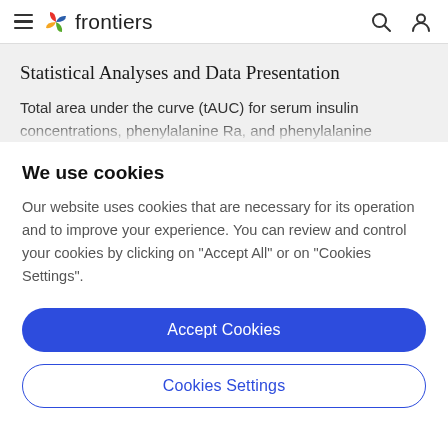frontiers
Statistical Analyses and Data Presentation
Total area under the curve (tAUC) for serum insulin concentrations, phenylalanine Ra, and phenylalanine
We use cookies
Our website uses cookies that are necessary for its operation and to improve your experience. You can review and control your cookies by clicking on "Accept All" or on "Cookies Settings".
Accept Cookies
Cookies Settings